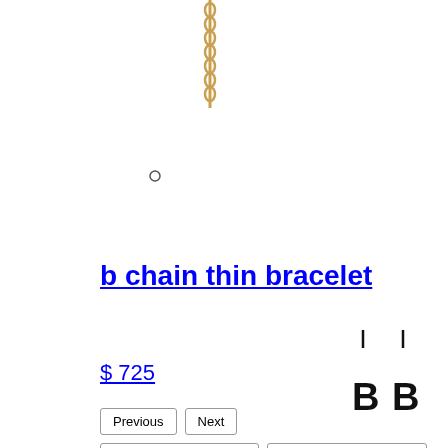[Figure (photo): Gold chain bracelet hanging vertically, showing partial chain links]
[Figure (other): Small circle dot indicator]
b chain thin bracelet
$ 725
Previous | Next
S - b chain thin bracelet | M - b chain thin bracelet
[Figure (photo): Two small black charm pendants shaped like the letter B with chain loops]